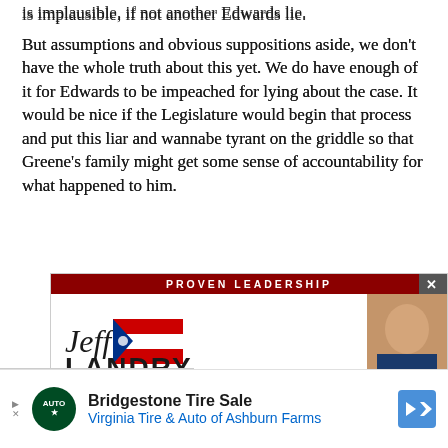is implausible, if not another Edwards lie.
But assumptions and obvious suppositions aside, we don't have the whole truth about this yet. We do have enough of it for Edwards to be impeached for lying about the case. It would be nice if the Legislature would begin that process and put this liar and wannabe tyrant on the griddle so that Greene's family might get some sense of accountability for what happened to him.
[Figure (other): Jeff Landry political campaign advertisement banner with 'PROVEN LEADERSHIP' header in red, name in large italic serif font with Louisiana flag graphic, and photo of candidate on right]
[Figure (other): Edge browser advertisement bar with X close button and Edge logo]
[Figure (other): Bridgestone Tire Sale advertisement for Virginia Tire & Auto of Ashburn Farms with green circular logo, bold title text, and blue navigation arrow icon]